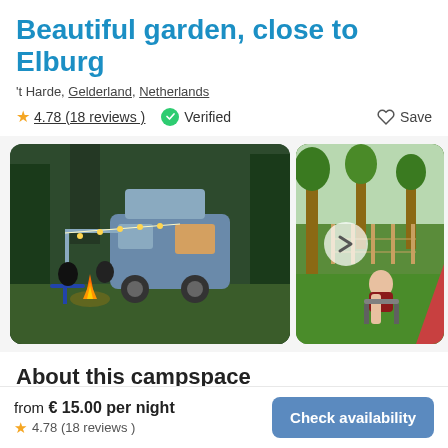Beautiful garden, close to Elburg
't Harde, Gelderland, Netherlands
4.78 (18 reviews)   Verified   Save
[Figure (photo): VW camper van with string lights and campfire with people sitting around it at night in a garden]
[Figure (photo): Woman sitting in a chair in a green garden with trees and a tent, navigation arrow overlay]
About this campspace
from € 15.00 per night
4.78 (18 reviews)